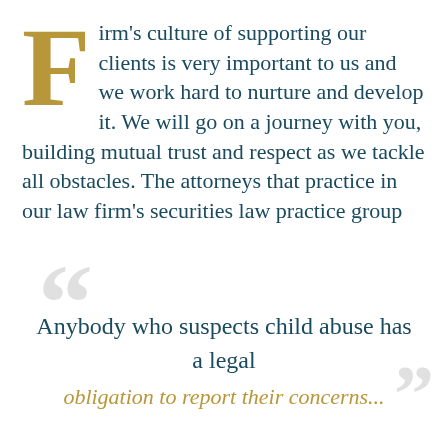Firm's culture of supporting our clients is very important to us and we work hard to nurture and develop it. We will go on a journey with you, building mutual trust and respect as we tackle all obstacles. The attorneys that practice in our law firm's securities law practice group
Anybody who suspects child abuse has a legal obligation to report their concerns...